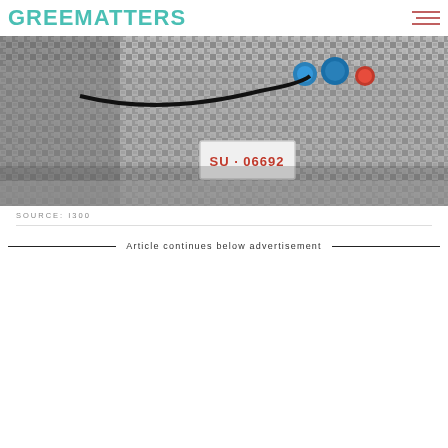GREENMATTERS
[Figure (photo): Close-up photo of a camouflage-wrapped car prototype with blue charging connectors and a red button visible at the top, showing a license plate reading SU 06692]
SOURCE: I300
Article continues below advertisement